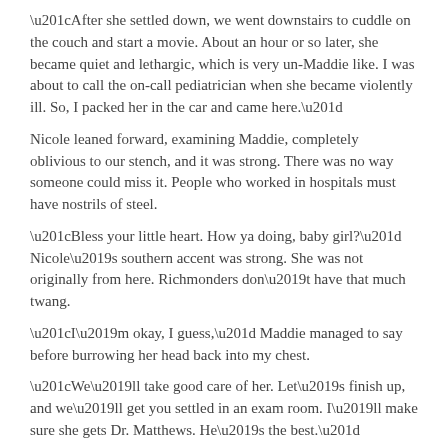“After she settled down, we went downstairs to cuddle on the couch and start a movie. About an hour or so later, she became quiet and lethargic, which is very un-Maddie like. I was about to call the on-call pediatrician when she became violently ill. So, I packed her in the car and came here.”
Nicole leaned forward, examining Maddie, completely oblivious to our stench, and it was strong. There was no way someone could miss it. People who worked in hospitals must have nostrils of steel.
“Bless your little heart. How ya doing, baby girl?” Nicole’s southern accent was strong. She was not originally from here. Richmonders don’t have that much twang.
“I’m okay, I guess,” Maddie managed to say before burrowing her head back into my chest.
“We’ll take good care of her. Let’s finish up, and we’ll get you settled in an exam room. I’ll make sure she gets Dr. Matthews. He’s the best.”
“Thank you, Nicole. I really appreciate it,” I said, meaning every word.
“Don’t you mention it, hun. I got one at home just about the same age,” she said, turning back to the computer to type again.
Nicole proceeded to ask a few more questions, briefly examined